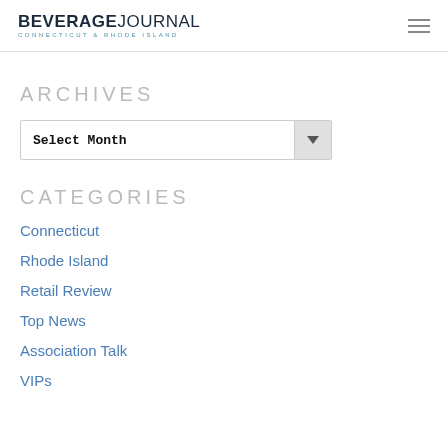BEVERAGE JOURNAL — Connecticut & Rhode Island
ARCHIVES
Select Month
CATEGORIES
Connecticut
Rhode Island
Retail Review
Top News
Association Talk
VIPs